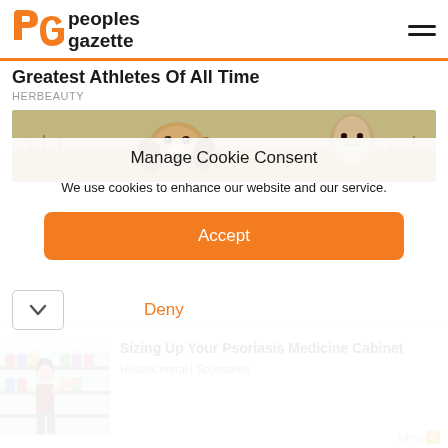[Figure (logo): Peoples Gazette logo with orange PG letters and hamburger menu icon]
Greatest Athletes Of All Time
HERBEAUTY
[Figure (photo): A beagle dog looking at camera in a field]
Manage Cookie Consent
We use cookies to enhance our website and our service.
Accept
Deny
[Figure (photo): Woman shopping in a pharmacy/grocery store aisle]
Sizing Up Your Psoriasis Medicine Cabinet
HealthCentral | Sponsored